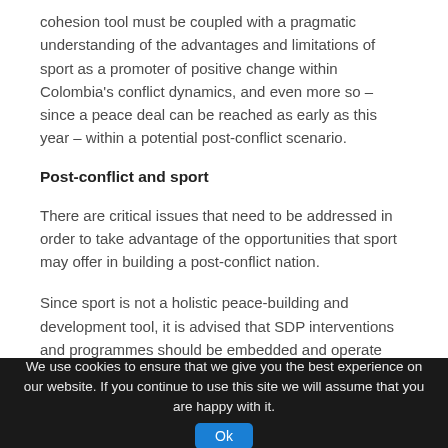cohesion tool must be coupled with a pragmatic understanding of the advantages and limitations of sport as a promoter of positive change within Colombia's conflict dynamics, and even more so – since a peace deal can be reached as early as this year – within a potential post-conflict scenario.
Post-conflict and sport
There are critical issues that need to be addressed in order to take advantage of the opportunities that sport may offer in building a post-conflict nation.
Since sport is not a holistic peace-building and development tool, it is advised that SDP interventions and programmes should be embedded and operate within greater regional and national peace and development objectives and in conjunction with non-sport-based programmes.
We use cookies to ensure that we give you the best experience on our website. If you continue to use this site we will assume that you are happy with it.